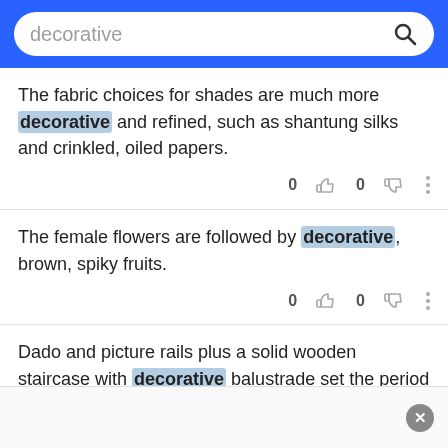decorative [search bar]
The fabric choices for shades are much more decorative and refined, such as shantung silks and crinkled, oiled papers.
The female flowers are followed by decorative, brown, spiky fruits.
Dado and picture rails plus a solid wooden staircase with decorative balustrade set the period tone of the property.